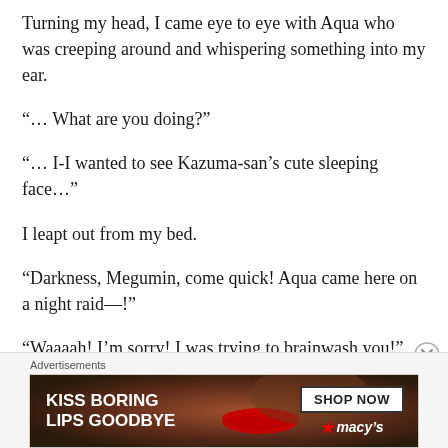Turning my head, I came eye to eye with Aqua who was creeping around and whispering something into my ear.
“… What are you doing?”
“… I-I wanted to see Kazuma-san’s cute sleeping face…”
I leapt out from my bed.
“Darkness, Megumin, come quick! Aqua came here on a night raid—!”
“Waaaah! I’m sorry! I was trying to brainwash you!”
Advertisements
[Figure (other): Advertisement banner: KISS BORING LIPS GOODBYE with SHOP NOW and Macys logo on a dark brown/red background with a woman's face]